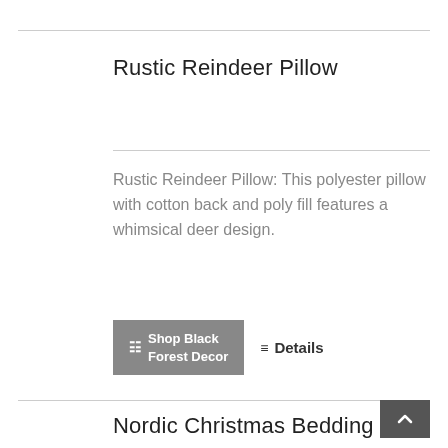Rustic Reindeer Pillow
Rustic Reindeer Pillow: This polyester pillow with cotton back and poly fill features a whimsical deer design.
Shop Black Forest Decor
Details
Nordic Christmas Bedding